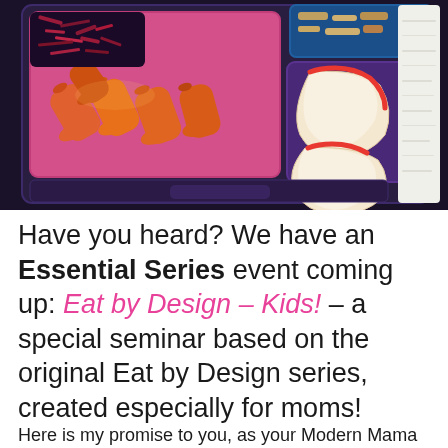[Figure (photo): A bento-style lunch box with compartments containing baby carrots in a pink/purple tray, apple slices in a purple compartment, a folded napkin on the right, and what appears to be a salad or mixed food item in the top left compartment. The lunchbox is dark purple/black.]
Have you heard? We have an Essential Series event coming up: Eat by Design – Kids! – a special seminar based on the original Eat by Design series, created especially for moms!
Here is my promise to you, as your Modern Mama